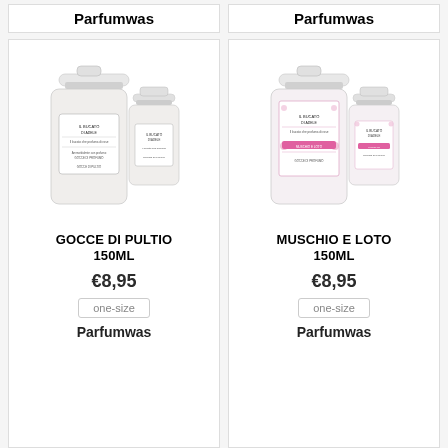Parfumwas
Parfumwas
[Figure (photo): Two white bottles of 'Il Bucato di Adele' laundry perfume - Gocce di Pultio, 150ml and smaller size]
GOCCE DI PULTIO 150ML
€8,95
one-size
Parfumwas
[Figure (photo): Two white bottles with pink floral label of 'Il Bucato di Adele' laundry perfume - Muschio e Loto, 150ml and smaller size]
MUSCHIO E LOTO 150ML
€8,95
one-size
Parfumwas